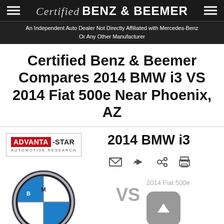Certified BENZ & BEEMER
An Independent Auto Dealer Not Directly Affiliated with Mercedes-Benz Or Any Other Manufacturer
Certified Benz & Beemer Compares 2014 BMW i3 VS 2014 Fiat 500e Near Phoenix, AZ
[Figure (logo): ADVANTA-STAR AUTOMOTIVE RESEARCH logo]
2014 BMW i3
[Figure (logo): BMW roundel logo]
VS
2014 Fiat 500e